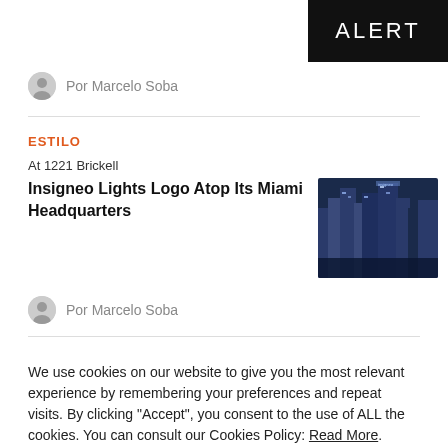[Figure (logo): ALERT logo in white text on black background]
Por Marcelo Soba
ESTILO
At 1221 Brickell
Insigneo Lights Logo Atop Its Miami Headquarters
[Figure (photo): Aerial night photo of Miami skyscrapers with Insigneo logo lit atop building]
Por Marcelo Soba
We use cookies on our website to give you the most relevant experience by remembering your preferences and repeat visits. By clicking "Accept", you consent to the use of ALL the cookies. You can consult our Cookies Policy: Read More.
Cookie Settings | Accept | Reject